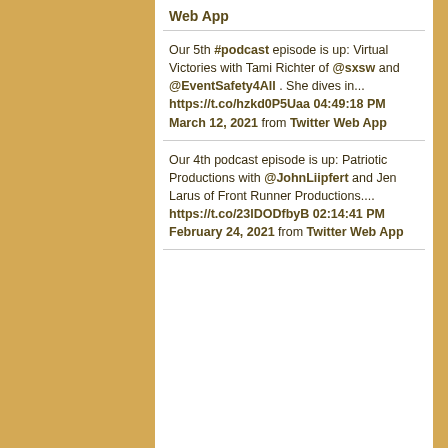Web App
Our 5th #podcast episode is up: Virtual Victories with Tami Richter of @sxsw and @EventSafety4All . She dives in... https://t.co/hzkd0P5Uaa 04:49:18 PM March 12, 2021 from Twitter Web App
Our 4th podcast episode is up: Patriotic Productions with @JohnLiipfert and Jen Larus of Front Runner Productions.... https://t.co/23lDODfbyB 02:14:41 PM February 24, 2021 from Twitter Web App